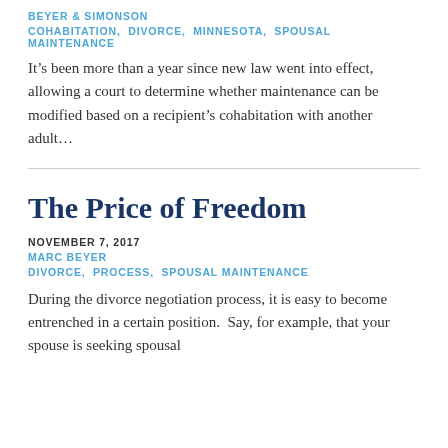BEYER & SIMONSON
COHABITATION, DIVORCE, MINNESOTA, SPOUSAL MAINTENANCE
It’s been more than a year since new law went into effect, allowing a court to determine whether maintenance can be modified based on a recipient’s cohabitation with another adult…
The Price of Freedom
NOVEMBER 7, 2017
MARC BEYER
DIVORCE, PROCESS, SPOUSAL MAINTENANCE
During the divorce negotiation process, it is easy to become entrenched in a certain position.  Say, for example, that your spouse is seeking spousal